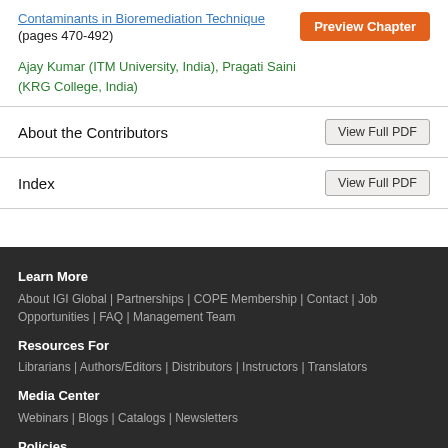Contaminants in Bioremediation Technique (pages 470-492)
Ajay Kumar (ITM University, India), Pragati Saini (KRG College, India)
About the Contributors
Index
Learn More
About IGI Global | Partnerships | COPE Membership | Contact | Job Opportunities | FAQ | Management Team
Resources For
Librarians | Authors/Editors | Distributors | Instructors | Translators
Media Center
Webinars | Blogs | Catalogs | Newsletters
Policies
Privacy Policy | Cookie & Tracking Notice | Fair Use Policy | Accessibility |